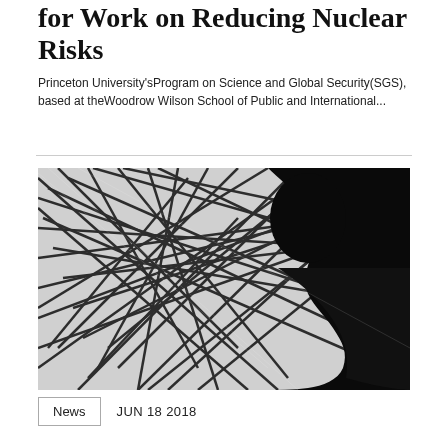for Work on Reducing Nuclear Risks
Princeton University's Program on Science and Global Security (SGS), based at the Woodrow Wilson School of Public and International...
[Figure (photo): Black and white silhouette photo of a person's profile against a background of tangled lines/wires]
News   JUN 18 2018